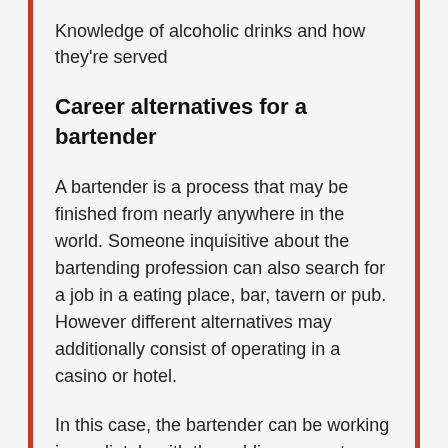Knowledge of alcoholic drinks and how they're served
Career alternatives for a bartender
A bartender is a process that may be finished from nearly anywhere in the world. Someone inquisitive about the bartending profession can also search for a job in a eating place, bar, tavern or pub. However different alternatives may additionally consist of operating in a casino or hotel.
In this case, the bartender can be working immediately with the public or can at